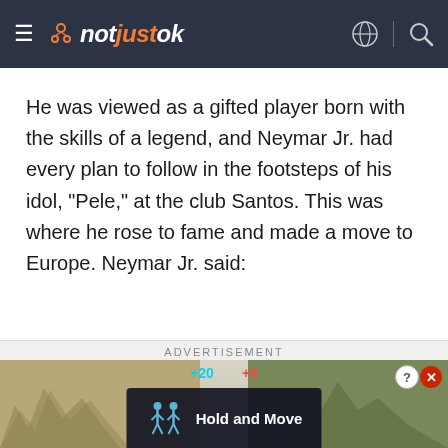notjustok — navigation bar
He was viewed as a gifted player born with the skills of a legend, and Neymar Jr. had every plan to follow in the footsteps of his idol, "Pele," at the club Santos. This was where he rose to fame and made a move to Europe. Neymar Jr. said:
[Figure (screenshot): Advertisement banner at bottom of page showing 'ADVERTISEMENT' label with a 'Hold and Move' app ad featuring silhouette figures and trees background with close/help buttons]